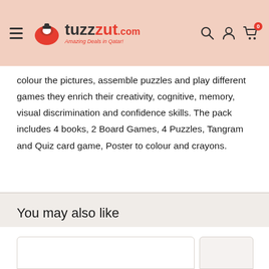tuzzut.com - Amazing Deals in Qatar!
colour the pictures, assemble puzzles and play different games they enrich their creativity, cognitive, memory, visual discrimination and confidence skills. The pack includes 4 books, 2 Board Games, 4 Puzzles, Tangram and Quiz card game, Poster to colour and crayons.
You may also like